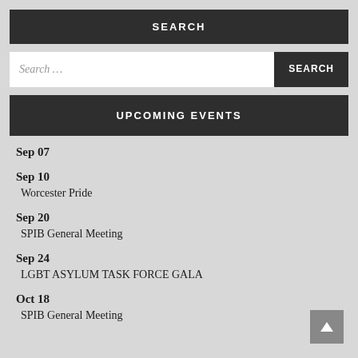SEARCH
Search ...
UPCOMING EVENTS
Sep 07
Sep 10
Worcester Pride
Sep 20
SPIB General Meeting
Sep 24
LGBT ASYLUM TASK FORCE GALA
Oct 18
SPIB General Meeting